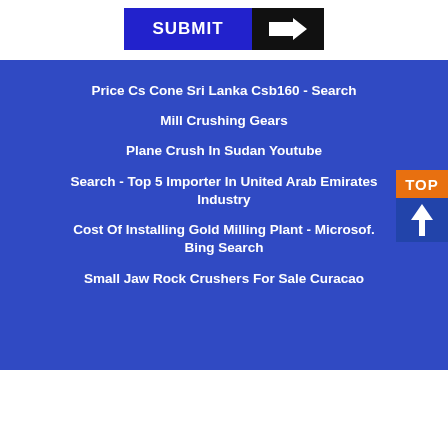[Figure (other): Submit button with blue label and black arrow icon]
Price Cs Cone Sri Lanka Csb160 - Search
Mill Crushing Gears
Plane Crush In Sudan Youtube
Search - Top 5 Importer In United Arab Emirates Industry
Cost Of Installing Gold Milling Plant - Microsoft Bing Search
Small Jaw Rock Crushers For Sale Curacao